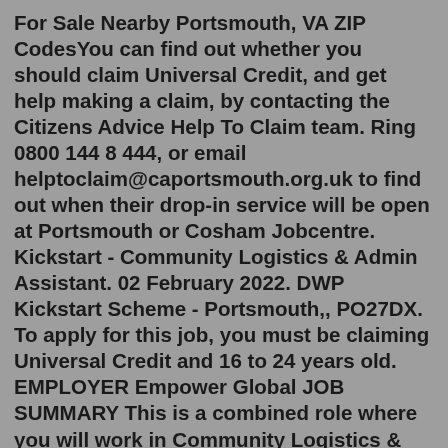For Sale Nearby Portsmouth, VA ZIP CodesYou can find out whether you should claim Universal Credit, and get help making a claim, by contacting the Citizens Advice Help To Claim team. Ring 0800 144 8 444, or email helptoclaim@caportsmouth.org.uk to find out when their drop-in service will be open at Portsmouth or Cosham Jobcentre. Kickstart - Community Logistics & Admin Assistant. 02 February 2022. DWP Kickstart Scheme - Portsmouth,, PO27DX. To apply for this job, you must be claiming Universal Credit and 16 to 24 years old. EMPLOYER Empower Global JOB SUMMARY This is a combined role where you will work in Community Logistics & Administration.Rev Paul Butler and Rev Christopher Foster are among the 50 signatories that have written to Chancellor Rishi Sunak urging him to make the £20-a-week incrCOVID update: Universal Plumbing & Home Improvement has updated their hours and services. 3 reviews of Universal Plumbing & Home Improvement